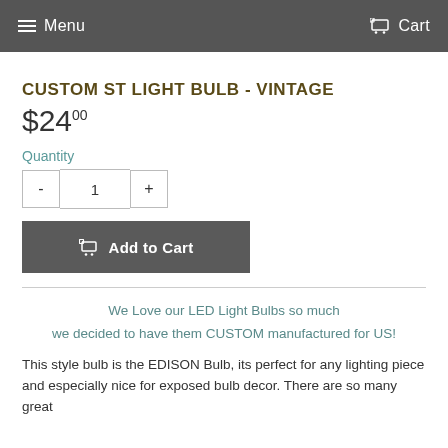Menu  Cart
CUSTOM ST LIGHT BULB - VINTAGE
$24.00
Quantity
- 1 +
Add to Cart
We Love our LED Light Bulbs so much we decided to have them CUSTOM manufactured for US!
This style bulb is the EDISON Bulb, its perfect for any lighting piece and especially nice for exposed bulb decor. There are so many great